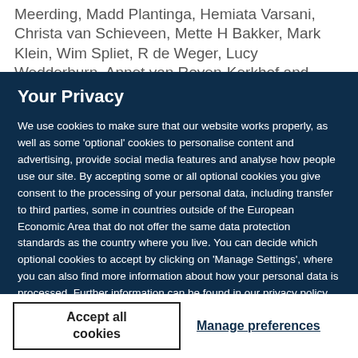Meerding, Madd Plantinga, Hemiata Varsani, Christa van Schieveen, Mette H Bakker, Mark Klein, Wim Spliet, R de Weger, Lucy Wedderburn, Annet van Royen-Kerkhof and Berent J Drekker
Your Privacy
We use cookies to make sure that our website works properly, as well as some 'optional' cookies to personalise content and advertising, provide social media features and analyse how people use our site. By accepting some or all optional cookies you give consent to the processing of your personal data, including transfer to third parties, some in countries outside of the European Economic Area that do not offer the same data protection standards as the country where you live. You can decide which optional cookies to accept by clicking on 'Manage Settings', where you can also find more information about how your personal data is processed. Further information can be found in our privacy policy.
Accept all cookies
Manage preferences